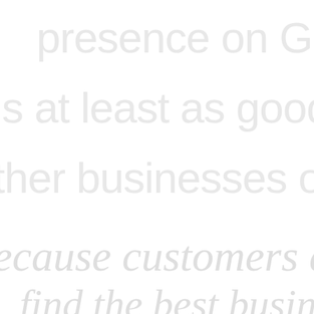presence on Google
is at least as good as th
ther businesses on Goog
ecause customers deserve
find the best business-
... and if thats you.